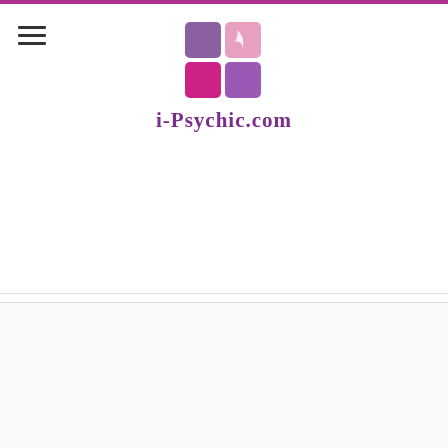i-Psychic.com
Managing Major Life Changes
[Figure (photo): Woman with curly brown hair indoors near window, partial view]